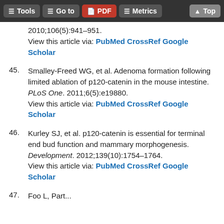Tools | Go to | PDF | Metrics | Top
2010;106(5):941–951. View this article via: PubMed CrossRef Google Scholar
45. Smalley-Freed WG, et al. Adenoma formation following limited ablation of p120-catenin in the mouse intestine. PLoS One. 2011;6(5):e19880. View this article via: PubMed CrossRef Google Scholar
46. Kurley SJ, et al. p120-catenin is essential for terminal end bud function and mammary morphogenesis. Development. 2012;139(10):1754–1764. View this article via: PubMed CrossRef Google Scholar
47. Foo L, Part...